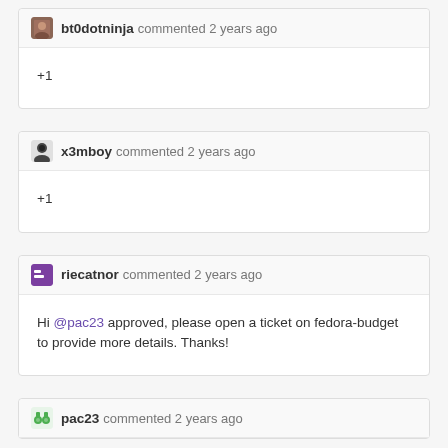bt0dotninja commented 2 years ago
+1
x3mboy commented 2 years ago
+1
riecatnor commented 2 years ago
Hi @pac23 approved, please open a ticket on fedora-budget to provide more details. Thanks!
pac23 commented 2 years ago